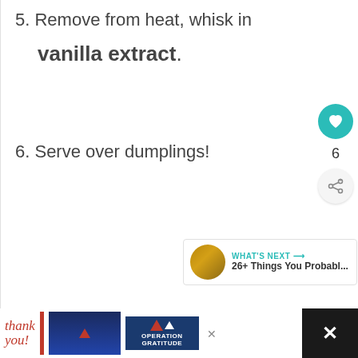5. Remove from heat, whisk in vanilla extract.
6. Serve over dumplings!